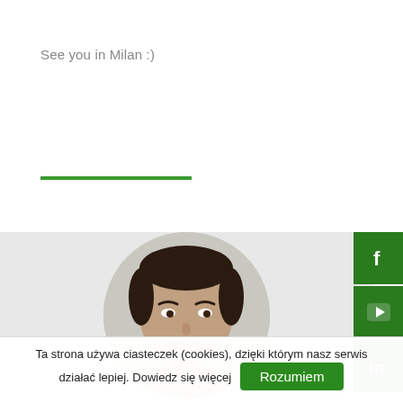See you in Milan :)
[Figure (illustration): Green horizontal divider line]
[Figure (photo): Circular portrait photo of a man with dark hair against a light grey background]
[Figure (infographic): Social media sidebar with Facebook, YouTube, and LinkedIn green icon buttons]
Ta strona używa ciasteczek (cookies), dzięki którym nasz serwis działać lepiej. Dowiedz się więcej
Rozumiem